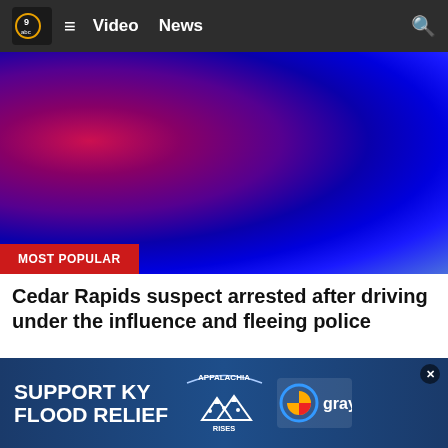KCRG ABC — Video  News
[Figure (photo): Blurred police lights — red/purple on left, blue on right — hero image with 'MOST POPULAR' badge overlay]
Cedar Rapids suspect arrested after driving under the influence and fleeing police
KCRG
[Figure (photo): Partially visible outdoor scene with blue inflatable object and foliage]
[Figure (infographic): SUPPORT KY FLOOD RELIEF advertisement banner with Appalachia Rises and Gray logos]